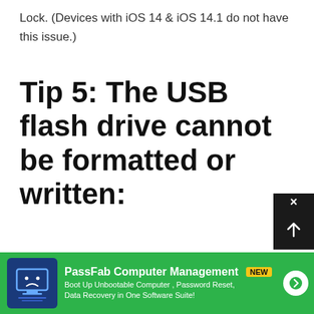Lock. (Devices with iOS 14 & iOS 14.1 do not have this issue.)
Tip 5: The USB flash drive cannot be formatted or written:
After creating a jailbreak environment in the USB flash drive with PassFab Activation Unlocker, the USB flash drive is probably unable to be formatted and written. Use the built-in disk management tools to format your USB flash drive.
[Figure (screenshot): Green advertisement banner for PassFab Computer Management with blue icon showing a sad face computer, NEW badge, and arrow button. Text reads: Boot Up Unbootable Computer, Password Reset, Data Recovery in One Software Suite!]